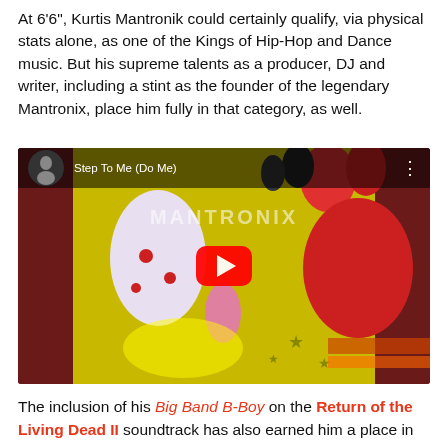At 6'6", Kurtis Mantronik could certainly qualify, via physical stats alone, as one of the Kings of Hip-Hop and Dance music. But his supreme talents as a producer, DJ and writer, including a stint as the founder of the legendary Mantronix, place him fully in that category, as well.
[Figure (screenshot): YouTube video embed showing 'Step To Me (Do Me)' by Mantronix with a colorful cartoon album art background and red play button overlay]
The inclusion of his Big Band B-Boy on the Return of the Living Dead II soundtrack has also earned him a place in